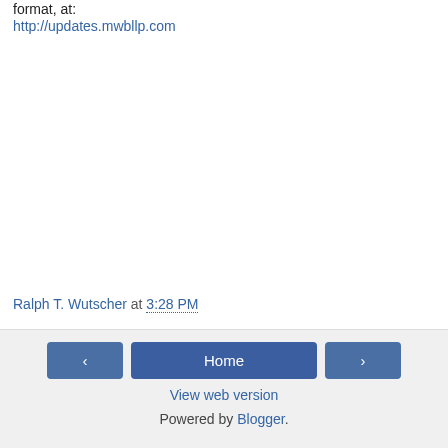format, at:
http://updates.mwbllp.com
Ralph T. Wutscher at 3:28 PM
< Home > View web version Powered by Blogger.